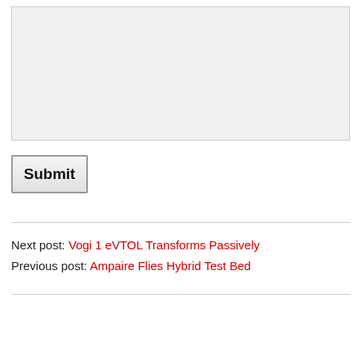[Figure (screenshot): A textarea input box with light gray background and border]
[Figure (screenshot): A Submit button with bold text and gray gradient background with border]
Next post: Vogi 1 eVTOL Transforms Passively
Previous post: Ampaire Flies Hybrid Test Bed